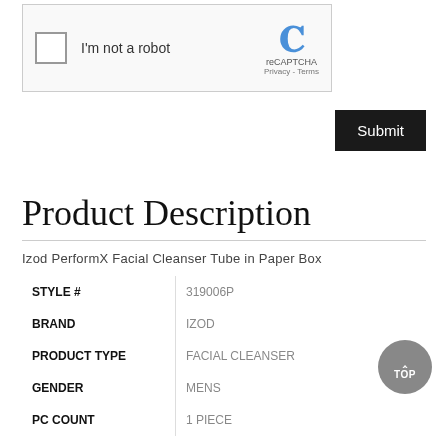[Figure (screenshot): reCAPTCHA widget showing checkbox 'I'm not a robot' with reCAPTCHA logo, Privacy and Terms links]
Submit
Product Description
Izod PerformX Facial Cleanser Tube in Paper Box
| STYLE # | 319006P |
| BRAND | IZOD |
| PRODUCT TYPE | FACIAL CLEANSER |
| GENDER | MENS |
| PC COUNT | 1 PIECE |